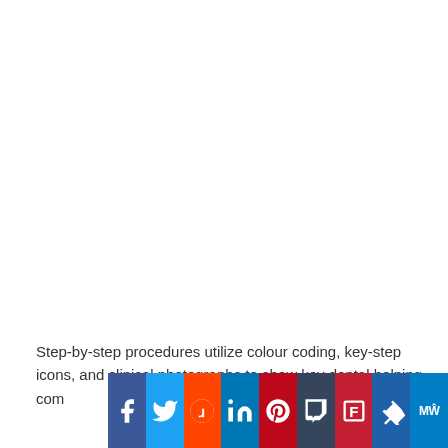[Figure (photo): Large white/blank image area occupying the upper portion of the page (image content not visible in this crop)]
Step-by-step procedures utilize colour coding, key-step icons, and clinical photographs to show key dental helping com[petencies in] deta[il]